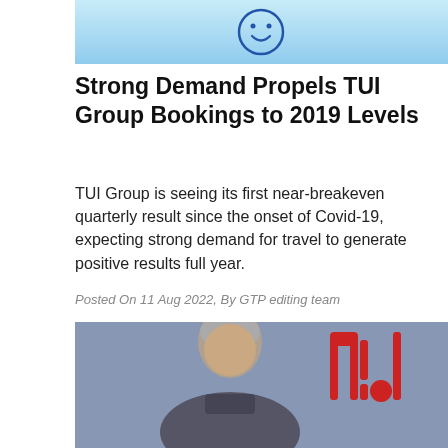[Figure (illustration): Light blue background with a smiley face icon (circle with two dots for eyes and a curved smile line), drawn in dark blue outline style]
Strong Demand Propels TUI Group Bookings to 2019 Levels
TUI Group is seeing its first near-breakeven quarterly result since the onset of Covid-19, expecting strong demand for travel to generate positive results full year.
Posted On 11 Aug 2022, By GTP editing team
[Figure (photo): Photograph of a grey-haired man in front of a grey/blue background with red TUI logo letters visible on the right side]